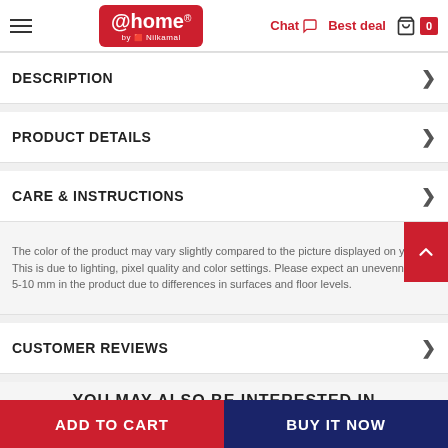[Figure (screenshot): @home by Nilkamal website header with hamburger menu, logo, Chat, Best deal, and cart icon with 0 badge]
DESCRIPTION
PRODUCT DETAILS
CARE & INSTRUCTIONS
The color of the product may vary slightly compared to the picture displayed on you... This is due to lighting, pixel quality and color settings. Please expect an unevenness... 5-10 mm in the product due to differences in surfaces and floor levels.
CUSTOMER REVIEWS
YOU MAY ALSO BE INTERESTED IN
ADD TO CART
BUY IT NOW